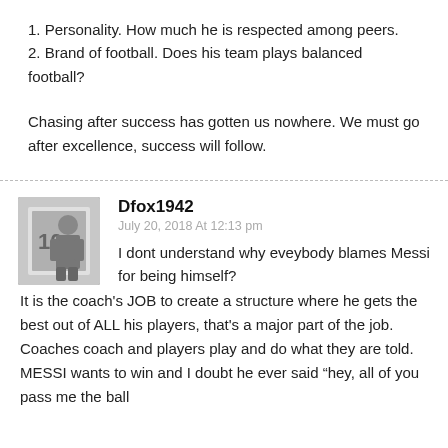1. Personality. How much he is respected among peers.
2. Brand of football. Does his team plays balanced football?
Chasing after success has gotten us nowhere. We must go after excellence, success will follow.
Dfox1942
July 20, 2018 At 12:13 pm
I dont understand why eveybody blames Messi for being himself?
It is the coach's JOB to create a structure where he gets the best out of ALL his players, that's a major part of the job. Coaches coach and players play and do what they are told. MESSI wants to win and I doubt he ever said “hey, all of you pass me the ball